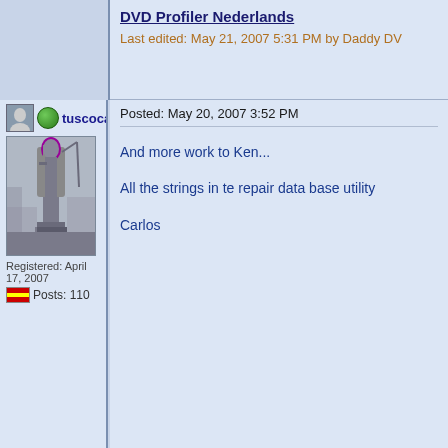DVD Profiler Nederlands
Last edited: May 21, 2007 5:31 PM by Daddy DV
tuscocan
Posted: May 20, 2007 3:52 PM
And more work to Ken...

All the strings in te repair data base utility

Carlos
Registered: April 17, 2007
Posts: 110
tuscocan
Posted: May 21, 2007 4:13 PM
And now Ken hates me, but...

"DVDProfiler is already running.
If DVD profiler does not appear in your ta

(And button)"

Carlos
Registered: April 17, 2007
Posts: 110
Daddy DVD
Lost in Translation
Posted: May 21, 2007 5:30 PM
I have added the mentioned strings to the